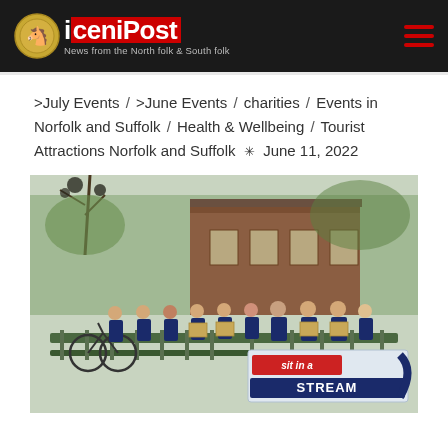iceniPost .com — News from the North folk & South folk
>July Events / >June Events / charities / Events in Norfolk and Suffolk / Health & Wellbeing / Tourist Attractions Norfolk and Suffolk * June 11, 2022
[Figure (photo): Group of people in navy blue tops standing on a bridge holding a banner that reads 'sit in a STREAM', with a brick building and trees in the background. A bicycle is visible on the left side.]